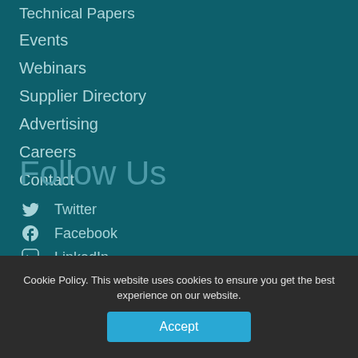Technical Papers
Events
Webinars
Supplier Directory
Advertising
Careers
Contact
Follow Us
Twitter
Facebook
LinkedIn
YouTube
Legal
Cookie Policy. This website uses cookies to ensure you get the best experience on our website.
Accept